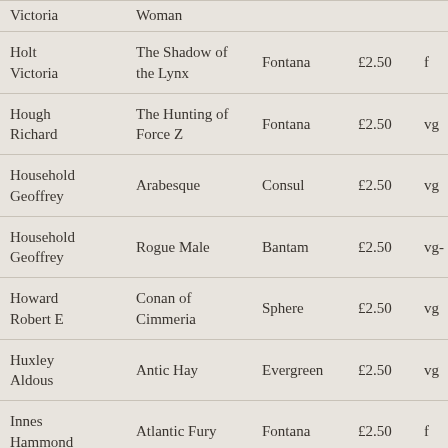| Author | Title | Publisher | Price | Condition | Year |
| --- | --- | --- | --- | --- | --- |
| Victoria | Woman |  |  |  |  |
| Holt Victoria | The Shadow of the Lynx | Fontana | £2.50 | f | 1973 1 |
| Hough Richard | The Hunting of Force Z | Fontana | £2.50 | vg | 1964 1 |
| Household Geoffrey | Arabesque | Consul | £2.50 | vg | 1961 1 |
| Household Geoffrey | Rogue Male | Bantam | £2.50 | vg- | 1945 1 |
| Howard Robert E | Conan of Cimmeria | Sphere | £2.50 | vg | 1974 1 |
| Huxley Aldous | Antic Hay | Evergreen | £2.50 | vg | 1940 |
| Innes Hammond | Atlantic Fury | Fontana | £2.50 | f | 1966 1 |